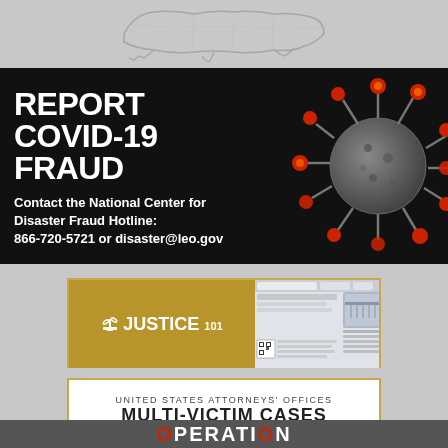[Figure (map): Partial US map silhouette in grayscale at top of page]
[Figure (infographic): REPORT COVID-19 FRAUD banner on black background with coronavirus image. Text: Contact the National Center for Disaster Fraud Hotline: 866-720-5721 or disaster@leo.gov]
[Figure (screenshot): Justice 101 logo banner with gold background and gavel icon, showing a screenshot of a DOJ website]
[Figure (infographic): United States Attorneys Offices - Multi-Victim Cases banner with gold border]
[Figure (infographic): Partial Operation banner at bottom, dark gray background with red letter O in OPERATION]